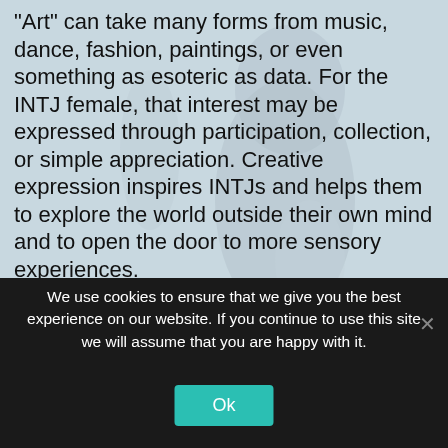[Figure (photo): Background image of a figure/person silhouette in light bluish-gray tones]
“Art” can take many forms from music, dance, fashion, paintings, or even something as esoteric as data. For the INTJ female, that interest may be expressed through participation, collection, or simple appreciation. Creative expression inspires INTJs and helps them to explore the world outside their own mind and to open the door to more sensory experiences.
THE FASHION CONNECTION
We use cookies to ensure that we give you the best experience on our website. If you continue to use this site we will assume that you are happy with it.